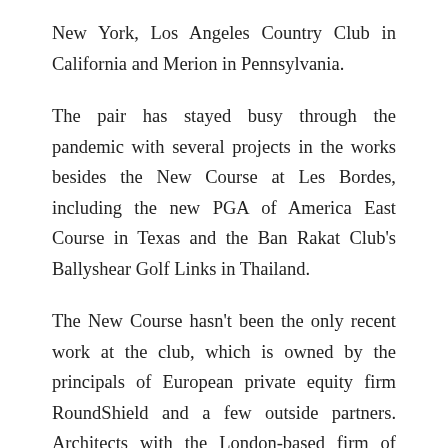New York, Los Angeles Country Club in California and Merion in Pennsylvania.
The pair has stayed busy through the pandemic with several projects in the works besides the New Course at Les Bordes, including the new PGA of America East Course in Texas and the Ban Rakat Club's Ballyshear Golf Links in Thailand.
The New Course hasn't been the only recent work at the club, which is owned by the principals of European private equity firm RoundShield and a few outside partners. Architects with the London-based firm of Michaelis Boyd have completed a full programme of rebuilding more than 2/3 of the 72...